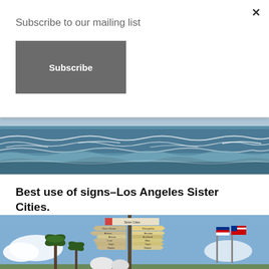Subscribe to our mailing list
Subscribe
[Figure (photo): Ocean waves photo strip showing blue water with white caps and waves]
Best use of signs–Los Angeles Sister Cities.
[Figure (photo): Photo of a Sister Cities sign post with multiple directional signs pointing to various cities, palm trees and flags in the background under a blue sky]